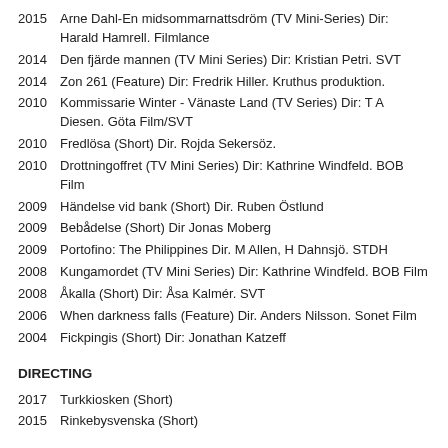2015   Arne Dahl-En midsommarnattsdröm (TV Mini-Series) Dir: Harald Hamrell. Filmlance
2014   Den fjärde mannen (TV Mini Series) Dir: Kristian Petri. SVT
2014   Zon 261 (Feature) Dir: Fredrik Hiller. Kruthus produktion.
2010   Kommissarie Winter - Vänaste Land (TV Series) Dir: T A Diesen. Göta Film/SVT
2010   Fredlösa (Short) Dir. Rojda Sekersöz.
2010   Drottningoffret (TV Mini Series) Dir: Kathrine Windfeld. BOB Film
2009   Händelse vid bank (Short) Dir. Ruben Östlund
2009   Bebådelse (Short) Dir Jonas Moberg
2009   Portofino: The Philippines Dir. M Allen, H Dahnsjö. STDH
2008   Kungamordet (TV Mini Series) Dir: Kathrine Windfeld. BOB Film
2008   Åkalla (Short) Dir: Åsa Kalmér. SVT
2006   When darkness falls (Feature) Dir. Anders Nilsson. Sonet Film
2004   Fickpingis (Short) Dir: Jonathan Katzeff
DIRECTING
2017   Turkkiosken (Short)
2015   Rinkebysvenska (Short)